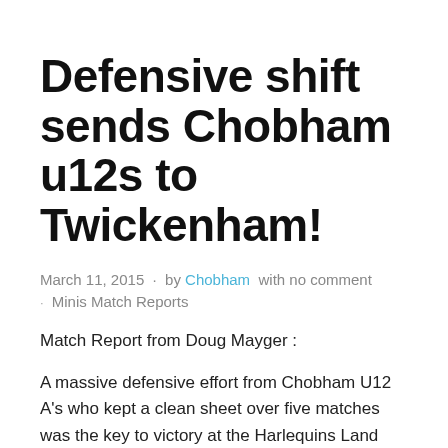Defensive shift sends Chobham u12s to Twickenham!
March 11, 2015  ·  by Chobham  with no comment · Minis Match Reports
Match Report from Doug Mayger :
A massive defensive effort from Chobham U12 A's who kept a clean sheet over five matches was the key to victory at the Harlequins Land Rover Cup.